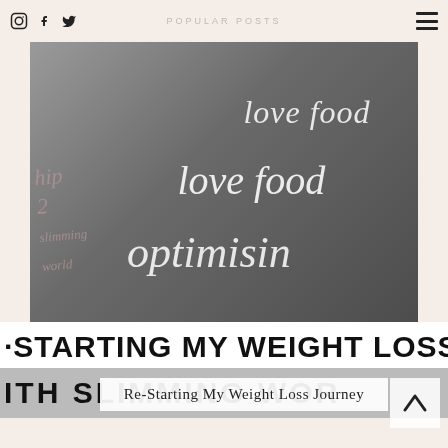POPULAR POSTS
[Figure (photo): Food photo with Slimming World book showing 'love food' and 'optimising' text overlaid, food dishes in background]
RE-STARTING MY WEIGHT LOSS JOURNEY WITH SLIMMING WORLD
Re-Starting My Weight Loss Journey